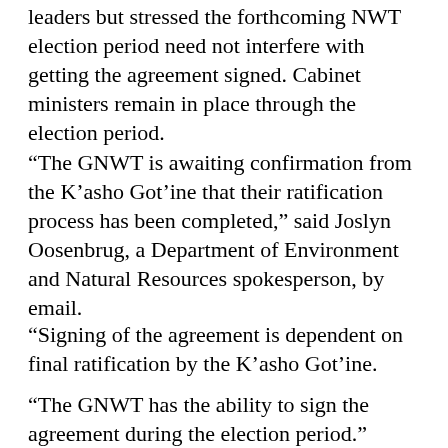leaders but stressed the forthcoming NWT election period need not interfere with getting the agreement signed. Cabinet ministers remain in place through the election period.
“The GNWT is awaiting confirmation from the K’asho Got’ine that their ratification process has been completed,” said Joslyn Oosenbrug, a Department of Environment and Natural Resources spokesperson, by email.
“Signing of the agreement is dependent on final ratification by the K’asho Got’ine.
“The GNWT has the ability to sign the agreement during the election period.”